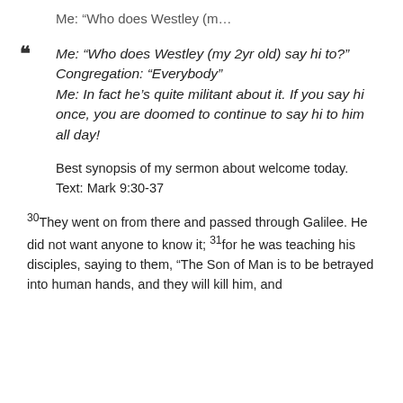Me: “Who does Westley (m…
Me: “Who does Westley (my 2yr old) say hi to?”
Congregation: “Everybody”
Me: In fact he’s quite militant about it. If you say hi once, you are doomed to continue to say hi to him all day!
Best synopsis of my sermon about welcome today.
Text: Mark 9:30-37
30They went on from there and passed through Galilee. He did not want anyone to know it; 31for he was teaching his disciples, saying to them, “The Son of Man is to be betrayed into human hands, and they will kill him, and